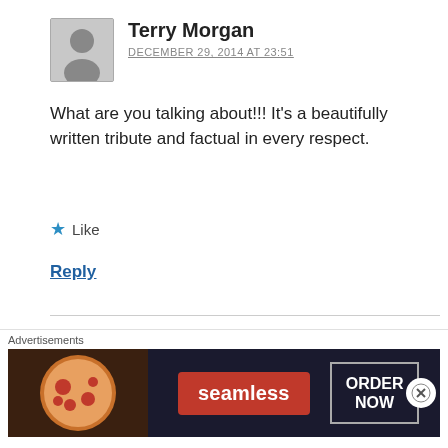Terry Morgan
DECEMBER 29, 2014 AT 23:51
What are you talking about!!! It’s a beautifully written tribute and factual in every respect.
★ Like
Reply
Robert Wolff
OCTOBER 19, 2021 AT 14:51
Agreed. They misidentified one of the aircraft
Advertisements
[Figure (screenshot): Seamless food delivery advertisement banner with pizza image, Seamless logo and ORDER NOW button]